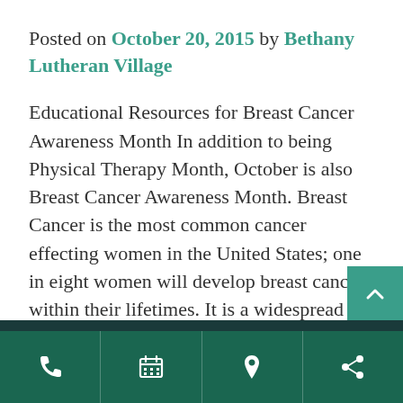Posted on October 20, 2015 by Bethany Lutheran Village
Educational Resources for Breast Cancer Awareness Month In addition to being Physical Therapy Month, October is also Breast Cancer Awareness Month. Breast Cancer is the most common cancer effecting women in the United States; one in eight women will develop breast cancer within their lifetimes. It is a widespread disease with a high mortality rate. [...]
Phone | Schedule | Location | Share